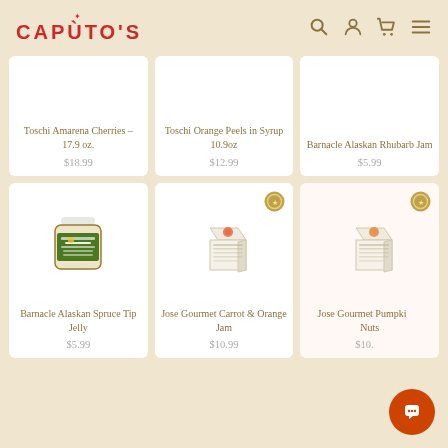CAPUTO'S
[Figure (photo): Toschi Amarena Cherries product card - no image shown, text only]
Toschi Amarena Cherries – 17.9 oz.
$18.99
[Figure (photo): Toschi Orange Peels in Syrup product card - no image shown, text only]
Toschi Orange Peels in Syrup 10.9oz
$12.99
[Figure (photo): Barnacle Alaskan Rhubarb Jam product card - no image shown, text only]
Barnacle Alaskan Rhubarb Jam
$5.99
[Figure (photo): Barnacle Alaskan Spruce Tip Jelly jar product photo]
Barnacle Alaskan Spruce Tip Jelly
$5.99
[Figure (photo): Jose Gourmet Carrot & Orange Jam box product photo with gold badge]
Jose Gourmet Carrot & Orange Jam
$10.99
[Figure (photo): Jose Gourmet Pumpkin & Nuts product box photo with gold badge]
Jose Gourmet Pumpkin & Nuts
$10.99